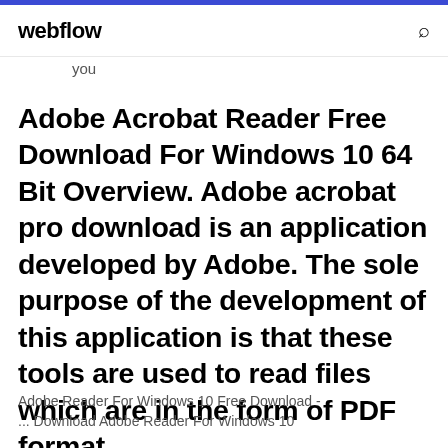webflow
you
Adobe Acrobat Reader Free Download For Windows 10 64 Bit Overview. Adobe acrobat pro download is an application developed by Adobe. The sole purpose of the development of this application is that these tools are used to read files which are in the form of PDF format.
Adobe Reader For Windows 10 Free Download - ... Download Adobe Reader For Windows 10